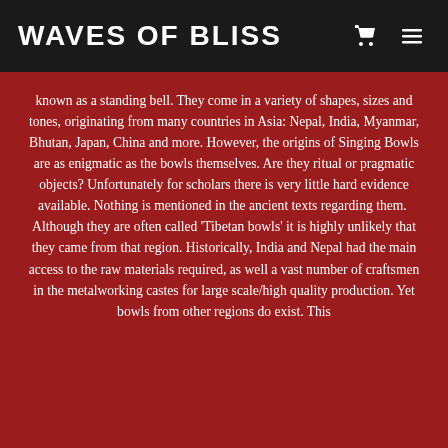WAVES OF BLISS
known as a standing bell. They come in a variety of shapes, sizes and tones, originating from many countries in Asia: Nepal, India, Myanmar, Bhutan, Japan, China and more. However, the origins of Singing Bowls are as enigmatic as the bowls themselves. Are they ritual or pragmatic objects? Unfortunately for scholars there is very little hard evidence available. Nothing is mentioned in the ancient texts regarding them.  Although they are often called 'Tibetan bowls' it is highly unlikely that they came from that region. Historically, India and Nepal had the main access to the raw materials required, as well a vast number of craftsmen in the metalworking castes for large scale/high quality production. Yet bowls from other regions do exist. This